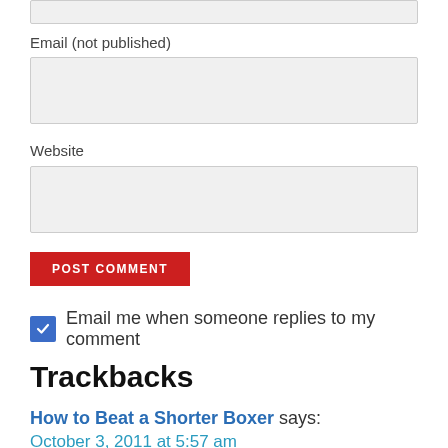Email (not published)
Website
POST COMMENT
Email me when someone replies to my comment
Trackbacks
How to Beat a Shorter Boxer says:
October 3, 2011 at 5:57 am
[…] Learn the Drowning Style – this is a great boxing